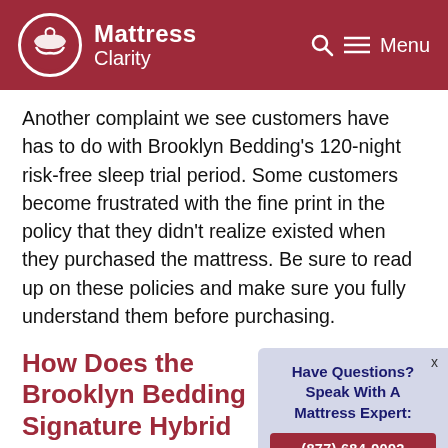Mattress Clarity
Another complaint we see customers have has to do with Brooklyn Bedding's 120-night risk-free sleep trial period. Some customers become frustrated with the fine print in the policy that they didn't realize existed when they purchased the mattress. Be sure to read up on these policies and make sure you fully understand them before purchasing.
How Does the Brooklyn Bedding Signature Hybrid Compa… Other Mattresses?
Before purchasing a mattress, it c…